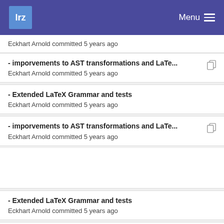lrz  Menu
Eckhart Arnold committed 5 years ago
- imporvements to AST transformations and LaTe...
Eckhart Arnold committed 5 years ago
- Extended LaTeX Grammar and tests
Eckhart Arnold committed 5 years ago
- imporvements to AST transformations and LaTe...
Eckhart Arnold committed 5 years ago
- Extended LaTeX Grammar and tests
Eckhart Arnold committed 5 years ago
- imporvements to AST transformations and LaTe...
Eckhart Arnold committed 5 years ago
- transform.py: thread-safe between call caching f...
Eckhart Arnold committed 5 years ago